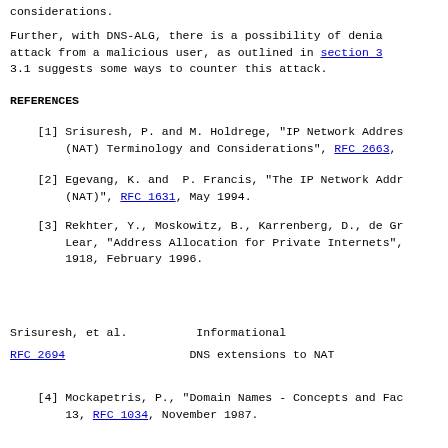considerations.
Further, with DNS-ALG, there is a possibility of denial of service attack from a malicious user, as outlined in section 3.1. Section 3.1 suggests some ways to counter this attack.
REFERENCES
[1] Srisuresh, P. and M. Holdrege, "IP Network Address Translator (NAT) Terminology and Considerations", RFC 2663,
[2] Egevang, K. and  P. Francis, "The IP Network Address Translator (NAT)", RFC 1631, May 1994.
[3] Rekhter, Y., Moskowitz, B., Karrenberg, D., de Groot, G. and E. Lear, "Address Allocation for Private Internets", BCP 5, RFC 1918, February 1996.
Srisuresh, et al.          Informational
RFC 2694                   DNS extensions to NAT
[4] Mockapetris, P., "Domain Names - Concepts and Facilities", STD 13, RFC 1034, November 1987.